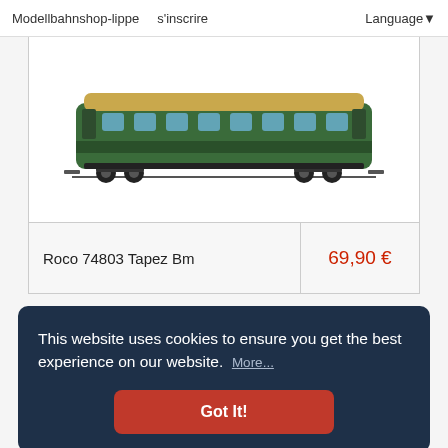Modellbahnshop-lippe   s'inscrire   Language
[Figure (photo): Model train passenger wagon, green and beige/tan colored, H0 scale, on white background]
| Product | Price |
| --- | --- |
| Roco 74803 Tapez Bm | 69,90 € |
This website uses cookies to ensure you get the best experience on our website. More...
Got It!